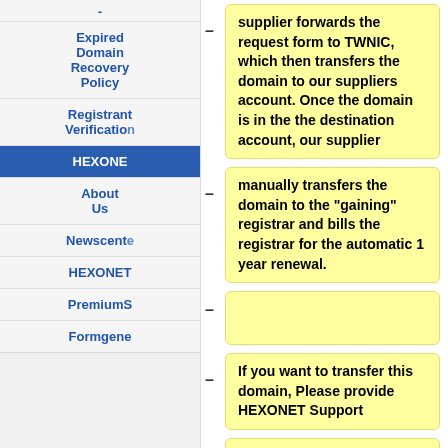-
Expired Domain Recovery Policy
Registrant Verification
HEXONE
About Us
Newscente
HEXONET
PremiumS
Formgene
supplier forwards the request form to TWNIC, which then transfers the domain to our suppliers account. Once the domain is in the the destination account, our supplier
manually transfers the domain to the "gaining" registrar and bills the registrar for the automatic 1 year renewal.
–
If you want to transfer this domain, Please provide HEXONET Support
–
- a signed LOA (letter of authority) from the